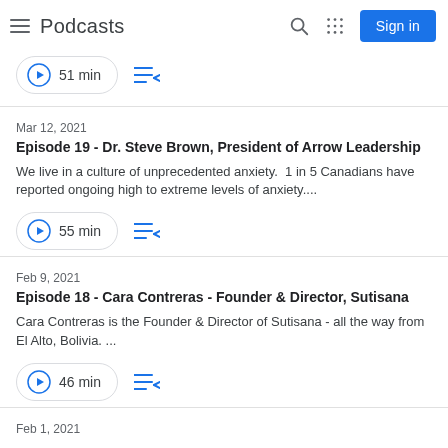Podcasts
51 min
Mar 12, 2021
Episode 19 - Dr. Steve Brown, President of Arrow Leadership
We live in a culture of unprecedented anxiety.  1 in 5 Canadians have reported ongoing high to extreme levels of anxiety....
55 min
Feb 9, 2021
Episode 18 - Cara Contreras - Founder & Director, Sutisana
Cara Contreras is the Founder & Director of Sutisana - all the way from El Alto, Bolivia. ...
46 min
Feb 1, 2021